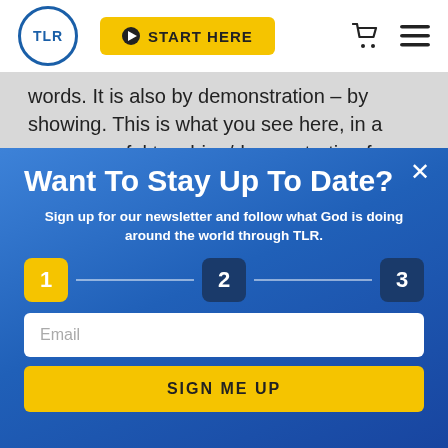TLR | START HERE
words. It is also by demonstration – by showing. This is what you see here, in a very powerful teaching/demonstration from our Kickstart
Want To Stay Up To Date?
Sign up for our newsletter and follow what God is doing around the world through TLR.
1  2  3
Email
SIGN ME UP